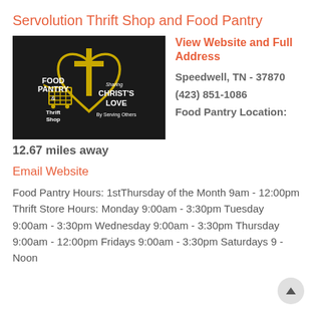Servolution Thrift Shop and Food Pantry
[Figure (logo): Black background logo with yellow cross and heart design, shopping cart, text reading FOOD PANTRY & Thrift Shop, Sharing CHRIST'S LOVE By Serving Others]
View Website and Full Address
Speedwell, TN - 37870
(423) 851-1086
Food Pantry Location:
12.67 miles away
Email Website
Food Pantry Hours: 1stThursday of the Month 9am - 12:00pm Thrift Store Hours: Monday 9:00am - 3:30pm Tuesday 9:00am - 3:30pm Wednesday 9:00am - 3:30pm Thursday 9:00am - 12:00pm Fridays 9:00am - 3:30pm Saturdays 9 - Noon